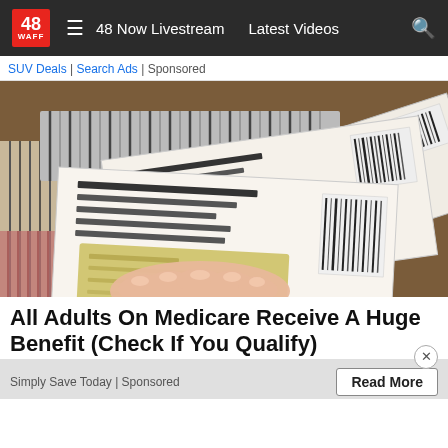48 WAFF | 48 Now Livestream | Latest Videos
SUV Deals | Search Ads | Sponsored
[Figure (photo): A hand holding multiple envelopes with checks visible inside, fanned out on a table. Clothing items are visible in the background.]
All Adults On Medicare Receive A Huge Benefit (Check If You Qualify)
Simply Save Today | Sponsored